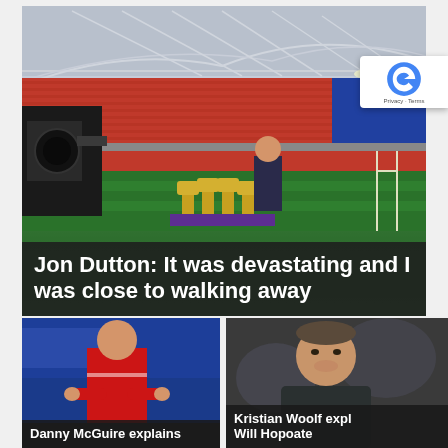[Figure (photo): Wembley Stadium interior with trophies on display and a man in suit standing behind them, camera crew in foreground. Headline overlay: 'Jon Dutton: It was devastating and I was close to walking away']
Jon Dutton: It was devastating and I was close to walking away
[Figure (photo): Danny McGuire in red sports kit, clapping, on a football pitch with blue stadium background]
Danny McGuire explains
[Figure (photo): Kristian Woolf smiling, wearing a dark jacket, with blurred background]
Kristian Woolf expl... Will Hopoate